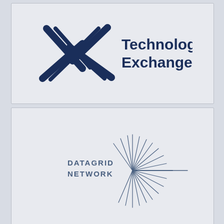[Figure (logo): Technology Exchange logo: dark navy X symbol made of crossing diagonal strokes, with text 'Technology Exchange' in bold navy to the right]
[Figure (logo): Datagrid Network logo: text 'DATAGRID NETWORK' with a starburst/radial lines graphic to the right, in steel blue/navy]
[Figure (logo): Evonergy logo: lowercase 'evonergy' with a lightning bolt inside the 'o', in dark navy, with trademark symbol]
[Figure (logo): Partial logo visible at bottom of page, dark navy circular element and text partially visible]